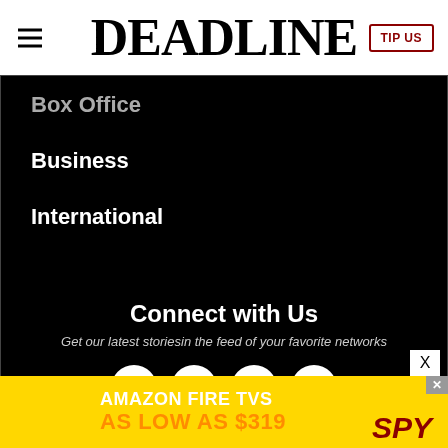DEADLINE
Box Office
Business
International
Connect with Us
Get our latest storiesin the feed of your favorite networks
[Figure (infographic): Social media icons: Facebook, Twitter, YouTube, Instagram]
[Figure (infographic): Advertisement banner: AMAZON FIRE TVS AS LOW AS $319 with SPY logo]